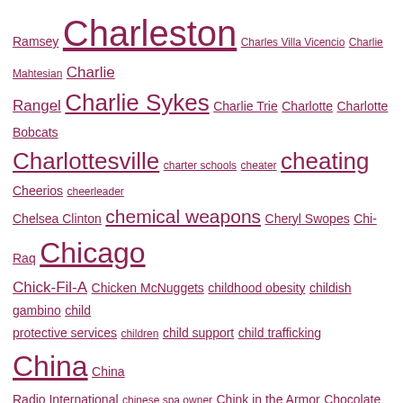Ramsey Charleston Charles Villa Vicencio Charlie Mahtesian Charlie Rangel Charlie Sykes Charlie Trie Charlotte Charlotte Bobcats Charlottesville charter schools cheater cheating Cheerios cheerleader Chelsea Clinton chemical weapons Cheryl Swopes Chi-Raq Chicago Chick-Fil-A Chicken McNuggets childhood obesity childish gambino child protective services children child support child trafficking China China Radio International chinese spa owner Chink in the Armor Chocolate City chokehold Chris Chris Bosh Chris Brown Chris Christie Chris Christie heckler Chris Cillizza Chris Collins Chris Coons Chris Cuo Chris Cuomo Chris Evans Chris Hayes Chris Hughton Chris Jansing Chris Kofinis Chris Lane Chris Lee Chris Matthews Chris McDaniel Chris Myers Chris Paul Chris Powell Chris Rock Chris Serino Chrissy Greer Christian Wulff Christine Quinn Christine Romans Christi Paul Christmas Christopher Dorner Christopher Kang Chronicle of Higher Education Chuck D Chuck Hagel Chuck Klosterman Chuck Todd church Church's Chicken CIA Ciara cigarette smuggling Cincinnati Enquirer Citizens Against Government Waste citizenship question city council civility civil liberties civil rights civil rights case Civil Rights Museum civil suit Claire